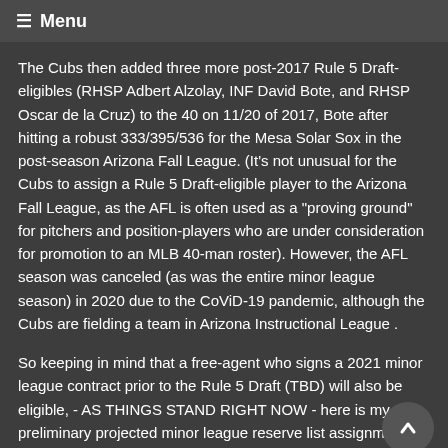≡ Menu
The Cubs then added three more post-2017 Rule 5 Draft-eligibles (RHSP Adbert Alzolay, INF David Bote, and RHSP Oscar de la Cruz) to the 40 on 11/20 of 2017, Bote after hitting a robust 333/395/536 for the Mesa Solar Sox in the post-season Arizona Fall League. (It's not unusual for the Cubs to assign a Rule 5 Draft-eligible player to the Arizona Fall League, as the AFL is often used as a "proving ground" for pitchers and position-players who are under consideration for promotion to an MLB 40-man roster). However, the AFL season was canceled (as was the entire minor league season) in 2020 due to the CoViD-19 pandemic, although the Cubs are fielding a team in Arizona Instructional League .
So keeping in mind that a free-agent who signs a 2021 minor league contract prior to the Rule 5 Draft (TBD) will also be eligible, - AS THINGS STAND RIGHT NOW - here is my preliminary projected minor league reserve list assignments for the Cubs 2020 Rule 5 Draft eligible minor leaguers who are not likely to be added to the 40 in November (so lists that follow do not include Abbott,